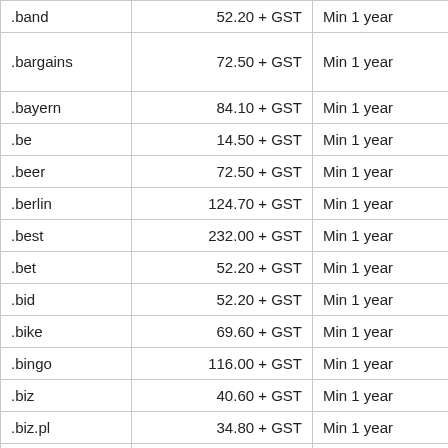| .band | 52.20 + GST | Min 1 year |  |
| .bargains | 72.50 + GST | Min 1 year |  |
| .bayern | 84.10 + GST | Min 1 year |  |
| .be | 14.50 + GST | Min 1 year |  |
| .beer | 72.50 + GST | Min 1 year |  |
| .berlin | 124.70 + GST | Min 1 year |  |
| .best | 232.00 + GST | Min 1 year |  |
| .bet | 52.20 + GST | Min 1 year |  |
| .bid | 52.20 + GST | Min 1 year |  |
| .bike | 69.60 + GST | Min 1 year |  |
| .bingo | 116.00 + GST | Min 1 year |  |
| .biz | 40.60 + GST | Min 1 year |  |
| .biz.pl | 34.80 + GST | Min 1 year |  |
| .black | 150.80 + GST | Min 1 year |  |